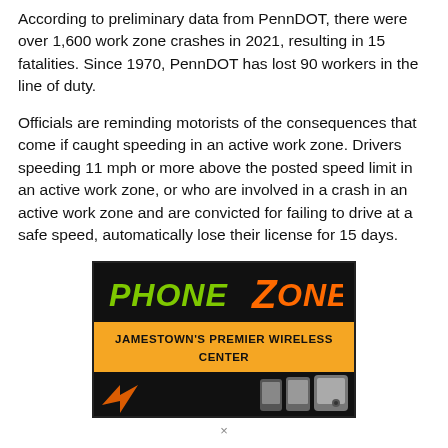According to preliminary data from PennDOT, there were over 1,600 work zone crashes in 2021, resulting in 15 fatalities. Since 1970, PennDOT has lost 90 workers in the line of duty.
Officials are reminding motorists of the consequences that come if caught speeding in an active work zone. Drivers speeding 11 mph or more above the posted speed limit in an active work zone, or who are involved in a crash in an active work zone and are convicted for failing to drive at a safe speed, automatically lose their license for 15 days.
[Figure (advertisement): Phone Zone advertisement — Jamestown's Premier Wireless Center. Black background with green and orange stylized 'PHONE ZONE' logo text, orange banner with black bold text 'JAMESTOWN'S PREMIER WIRELESS CENTER', and phones pictured at bottom.]